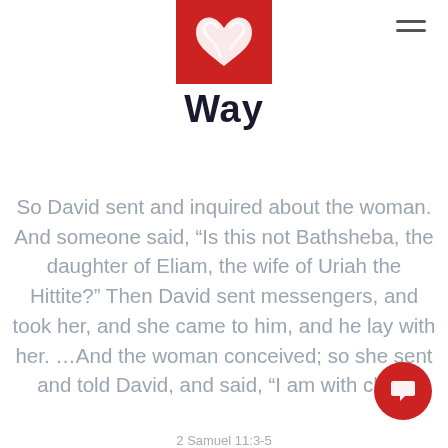[Figure (logo): Red square logo with white stylized heart/snake icon]
Way
So David sent and inquired about the woman. And someone said, “Is this not Bathsheba, the daughter of Eliam, the wife of Uriah the Hittite?” Then David sent messengers, and took her, and she came to him, and he lay with her. …And the woman conceived; so she sent and told David, and said, “I am with child.
2 Samuel 11:3-5